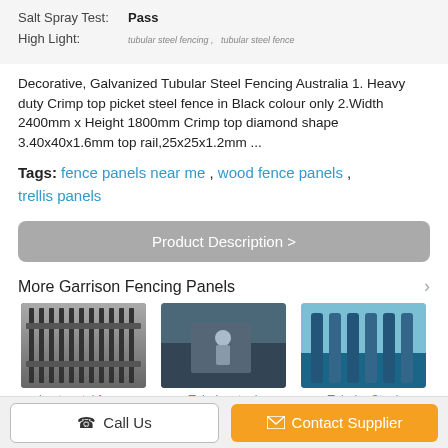| Salt Spray Test: | Pass |
| High Light: | tubular steel fencing ,  tubular steel fence |
Decorative, Galvanized Tubular Steel Fencing Australia 1. Heavy duty Crimp top picket steel fence in Black colour only 2.Width 2400mm x Height 1800mm Crimp top diamond shape 3.40x40x1.6mm top rail,25x25x1.2mm ...
Tags: fence panels near me , wood fence panels , trellis panels
Product Description >
More Garrison Fencing Panels
[Figure (photo): Metal fence panel - best metal fence]
[Figure (photo): Factory with tubular steel fence panels]
[Figure (photo): Tubular Steel Fencing Panels close-up]
Call Us
Contact Supplier